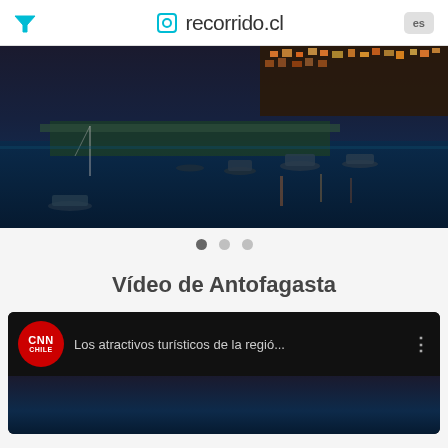recorrido.cl
[Figure (photo): Aerial night/dusk view of Antofagasta port and harbor with boats and city lights]
[Figure (infographic): Carousel navigation dots: three circles, first filled dark, two lighter]
Vídeo de Antofagasta
[Figure (screenshot): CNN Chile video card with title 'Los atractivos turísticos de la regió...' on dark background]